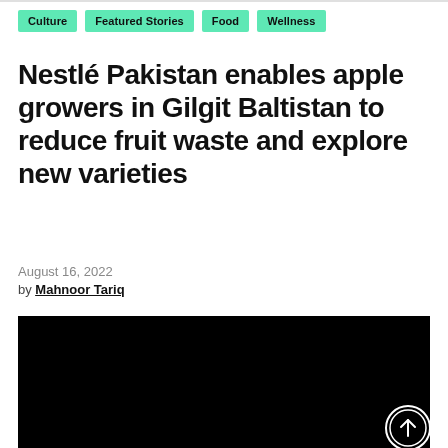Culture
Featured Stories
Food
Wellness
Nestlé Pakistan enables apple growers in Gilgit Baltistan to reduce fruit waste and explore new varieties
August 16, 2022
by Mahnoor Tariq
[Figure (photo): Dark/black image area with a circular scroll-to-top button in the lower right corner]